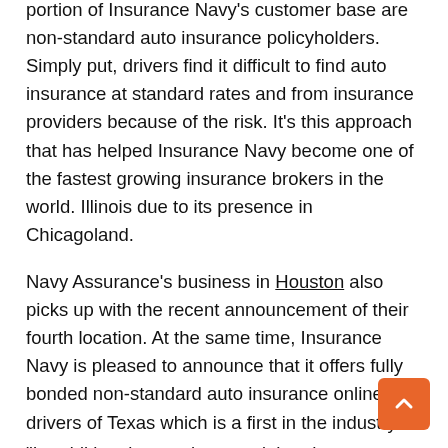portion of Insurance Navy's customer base are non-standard auto insurance policyholders. Simply put, drivers find it difficult to find auto insurance at standard rates and from insurance providers because of the risk. It's this approach that has helped Insurance Navy become one of the fastest growing insurance brokers in the world. Illinois due to its presence in Chicagoland.
Navy Assurance's business in Houston also picks up with the recent announcement of their fourth location. At the same time, Insurance Navy is pleased to announce that it offers fully bonded non-standard auto insurance online for drivers of Texas which is a first in the industry.
"In addition, it was also noted that the...